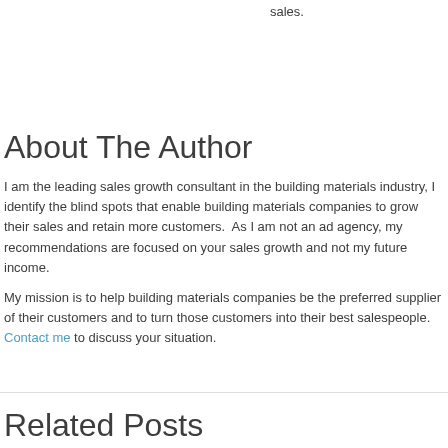sales.
About The Author
I am the leading sales growth consultant in the building materials industry, I identify the blind spots that enable building materials companies to grow their sales and retain more customers.  As I am not an ad agency, my recommendations are focused on your sales growth and not my future income.
My mission is to help building materials companies be the preferred supplier of their customers and to turn those customers into their best salespeople. Contact me to discuss your situation.
Related Posts